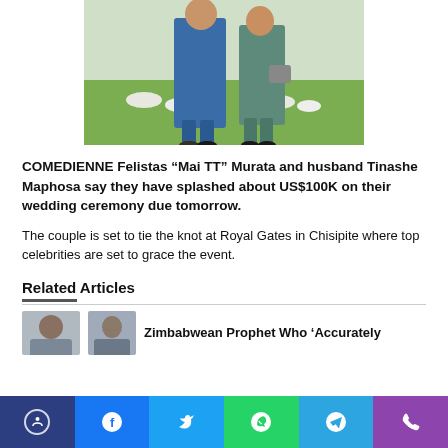[Figure (photo): Photo of two people (couple) standing outdoors on grass with white stones, man in blue suit and woman in grey/teal outfit holding a bag]
COMEDIENNE Felistas “Mai TT” Murata and husband Tinashe Maphosa say they have splashed about US$100K on their wedding ceremony due tomorrow.
The couple is set to tie the knot at Royal Gates in Chisipite where top celebrities are set to grace the event.
Related Articles
[Figure (photo): Two small thumbnail photos of people next to related article headline]
Zimbabwean Prophet Who ‘Accurately